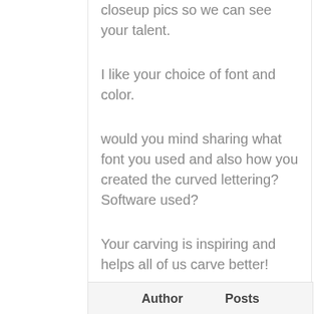closeup pics so we can see your talent.
I like your choice of font and color.
would you mind sharing what font you used and also how you created the curved lettering? Software used?
Your carving is inspiring and helps all of us carve better!
Author   Posts